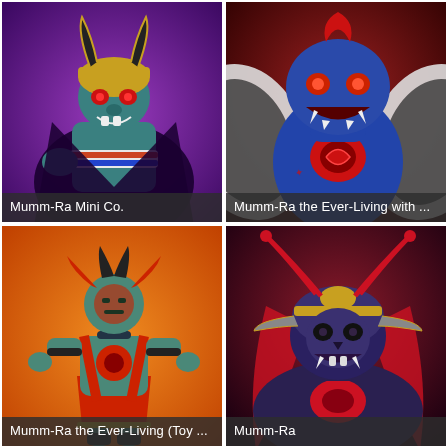[Figure (photo): Mumm-Ra Mini Co. collectible figure with blue skin, horned golden helmet, fanged grin, red eyes, wearing cape and sash, purple background]
Mumm-Ra Mini Co.
[Figure (photo): Mumm-Ra the Ever-Living collectible figure close-up with blue skin, open roaring mouth, red glowing symbol on chest, white and black wings, dark red background]
Mumm-Ra the Ever-Living with ...
[Figure (photo): Mumm-Ra the Ever-Living Toy action figure full body with teal skin, red straps and sash, red circular symbol on chest, horned head ornament, orange background]
Mumm-Ra the Ever-Living (Toy ...
[Figure (photo): Mumm-Ra collectible bust with dark purple skin, elaborate insect-like golden and red helmet, red heart symbol on chest, dark red and purple background]
Mumm-Ra